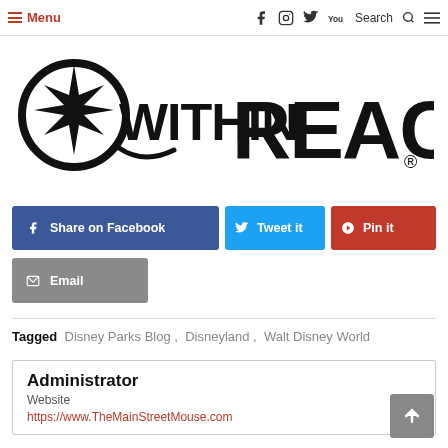≡ Menu  [facebook] [instagram] [twitter] [youtube]  Search Q  ≡
[Figure (logo): Within Reach logo in large bold black text with a spark/star graphic element and registered trademark symbol]
Share on Facebook
Tweet it
Pin it
Email
Tagged  Disney Parks Blog , Disneyland , Walt Disney World
Administrator
Website
https://www.TheMainStreetMouse.com